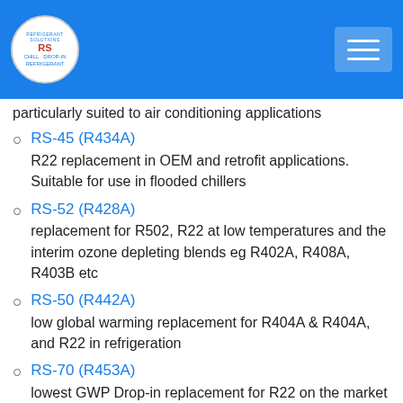[Figure (logo): RS refrigerant solutions circular logo with hamburger menu icon]
particularly suited to air conditioning applications
RS-45 (R434A) — R22 replacement in OEM and retrofit applications. Suitable for use in flooded chillers
RS-52 (R428A) — replacement for R502, R22 at low temperatures and the interim ozone depleting blends eg R402A, R408A, R403B etc
RS-50 (R442A) — low global warming replacement for R404A & R404A, and R22 in refrigeration
RS-70 (R453A) — lowest GWP Drop-in replacement for R22 on the market